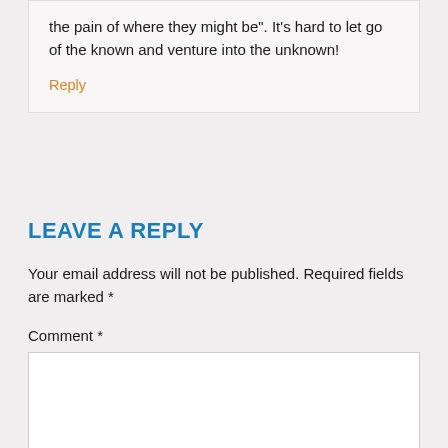the pain of where they might be". It's hard to let go of the known and venture into the unknown!
Reply
LEAVE A REPLY
Your email address will not be published. Required fields are marked *
Comment *